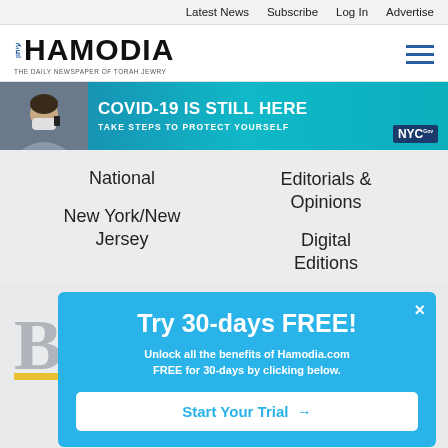Latest News   Subscribe   Log In   Advertise
[Figure (logo): Hamodia newspaper logo with Hebrew text and tagline 'THE DAILY NEWSPAPER OF TORAH JEWRY']
[Figure (photo): COVID-19 awareness banner advertisement: person wearing mask on phone, text 'COVID-19 IS STILL HERE - TAKE STEPS TO PROTECT YOURSELF', NYC logo]
National
Editorials & Opinions
New York/New Jersey
Digital Editions
[Figure (screenshot): Popup overlay with blue background. Headline: 'Try 30-days FREE!' Subtext: 'Unlock all the benefits of Hamodia.com FREE for 30-days by clicking below.' Button: 'Start Your Trial →']